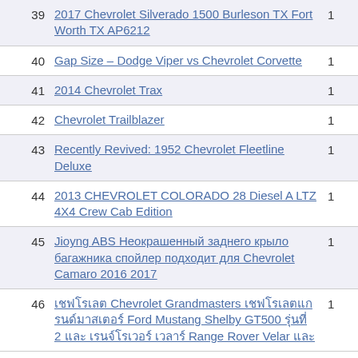| # | Title | Count |
| --- | --- | --- |
| 39 | 2017 Chevrolet Silverado 1500 Burleson TX Fort Worth TX AP6212 | 1 |
| 40 | Gap Size – Dodge Viper vs Chevrolet Corvette | 1 |
| 41 | 2014 Chevrolet Trax | 1 |
| 42 | Chevrolet Trailblazer | 1 |
| 43 | Recently Revived: 1952 Chevrolet Fleetline Deluxe | 1 |
| 44 | 2013 CHEVROLET COLORADO 28 Diesel A LTZ 4X4 Crew Cab Edition | 1 |
| 45 | Jioyng ABS Неокрашенный заднего крыло багажника спойлер подходит для Chevrolet Camaro 2016 2017 | 1 |
| 46 | เชฟโรเลต Chevrolet Grandmasters เชฟโรเลตแกรนด์มาสเตอร์ Ford Mustang Shelby GT500 รุ่นที่ 2 และ เรนจ์โรเวอร์ เวลาร์ Range Rover Velar และ | 1 |